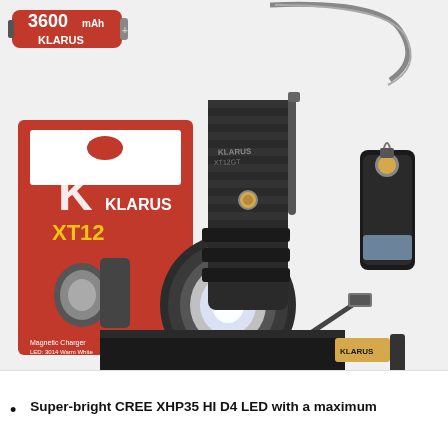[Figure (photo): Product photo of Klarus XT12GT tactical flashlight bundle including: a Klarus 3600mAh 18650 battery (red), a USB LED mini light, the black Klarus XT12GT flashlight (center, with lanyard), a magnetic charger/battery case accessory, a USB charging cable, a black nylon holster/pouch with Klarus branding, and the Klarus XT12GT retail box in black and red.]
Super-bright CREE XHP35 HI D4 LED with a maximum